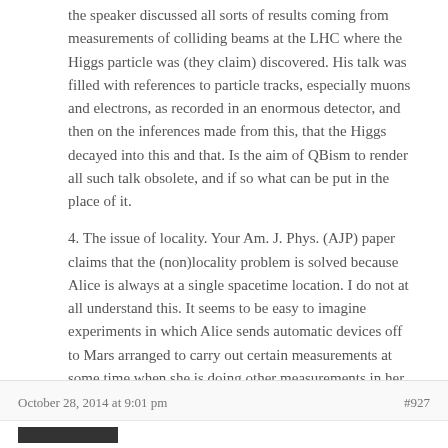the speaker discussed all sorts of results coming from measurements of colliding beams at the LHC where the Higgs particle was (they claim) discovered. His talk was filled with references to particle tracks, especially muons and electrons, as recorded in an enormous detector, and then on the inferences made from this, that the Higgs decayed into this and that. Is the aim of QBism to render all such talk obsolete, and if so what can be put in the place of it.
4. The issue of locality. Your Am. J. Phys. (AJP) paper claims that the (non)locality problem is solved because Alice is always at a single spacetime location. I do not at all understand this. It seems to be easy to imagine experiments in which Alice sends automatic devices off to Mars arranged to carry out certain measurements at some time when she is doing other measurements in her lab on Earth at spacelike separation. She will or will not see superluminal influences. I do not see how this is addressed in AJP. To take another example, a few years ago neutrinos seemed to be violating the speed limit. This was settled by somebody finding a faulty cable, not by a declaration that this is obviously unthinkable.
5. Why should we put our bets on QBism rather than GRW or Bohm or consistent histories or some other alternative on the market?
October 28, 2014 at 9:01 pm  #927